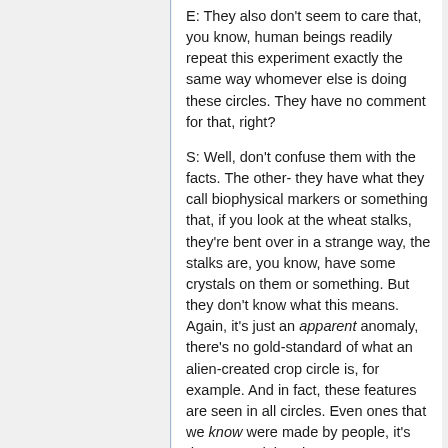E: They also don't seem to care that, you know, human beings readily repeat this experiment exactly the same way whomever else is doing these circles. They have no comment for that, right?
S: Well, don't confuse them with the facts. The other- they have what they call biophysical markers or something that, if you look at the wheat stalks, they're bent over in a strange way, the stalks are, you know, have some crystals on them or something. But they don't know what this means. Again, it's just an apparent anomaly, there's no gold-standard of what an alien-created crop circle is, for example. And in fact, these features are seen in all circles. Even ones that we know were made by people, it's documented that they were man-made.
B: The kids go out at night, they video-